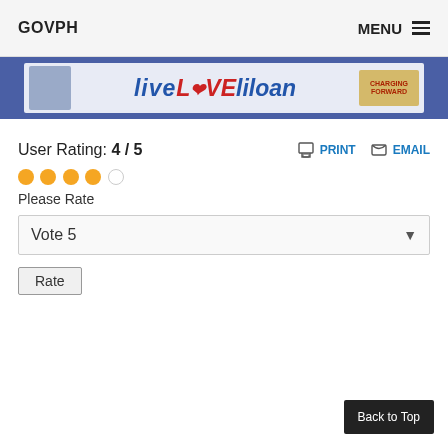GOVPH   MENU
[Figure (illustration): LiveLoveLiloan banner with city branding, colorful text and imagery on a blue strip background]
User Rating: 4 / 5
PRINT   EMAIL
Please Rate
Vote 5
Rate
Back to Top